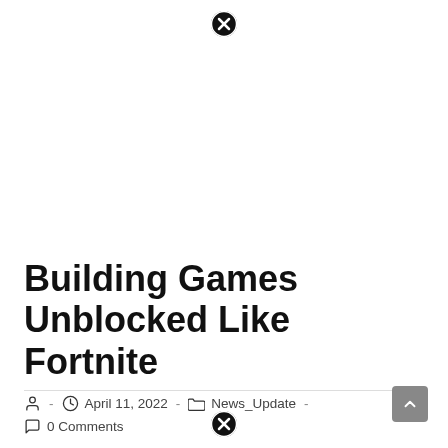[Figure (other): Close/cancel icon (X in circle) at top center]
Building Games Unblocked Like Fortnite
- April 11, 2022 - News_Update - 0 Comments
[Figure (other): Close/cancel icon (X in circle) at bottom center]